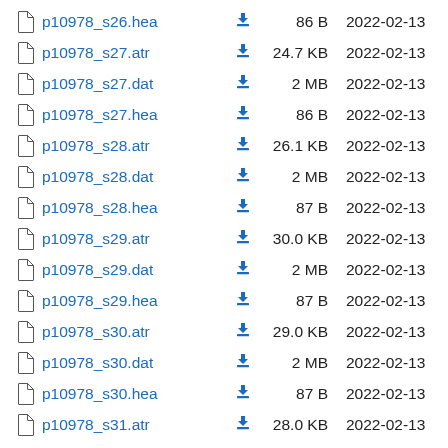p10978_s26.hea  86 B  2022-02-13
p10978_s27.atr  24.7 KB  2022-02-13
p10978_s27.dat  2 MB  2022-02-13
p10978_s27.hea  86 B  2022-02-13
p10978_s28.atr  26.1 KB  2022-02-13
p10978_s28.dat  2 MB  2022-02-13
p10978_s28.hea  87 B  2022-02-13
p10978_s29.atr  30.0 KB  2022-02-13
p10978_s29.dat  2 MB  2022-02-13
p10978_s29.hea  87 B  2022-02-13
p10978_s30.atr  29.0 KB  2022-02-13
p10978_s30.dat  2 MB  2022-02-13
p10978_s30.hea  87 B  2022-02-13
p10978_s31.atr  28.0 KB  2022-02-13